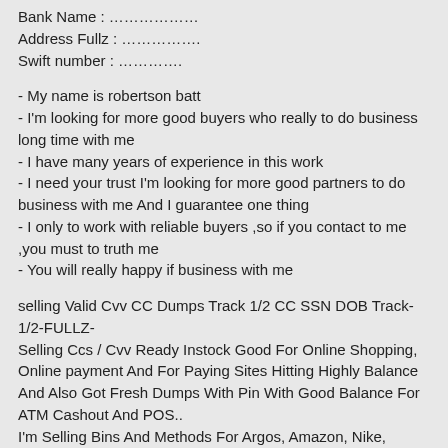Bank Name : ………………
Address Fullz : ……………..
Swift number : …………..
- My name is robertson batt
- I'm looking for more good buyers who really to do business long time with me
- I have many years of experience in this work
- I need your trust I'm looking for more good partners to do business with me And I guarantee one thing
- I only to work with reliable buyers ,so if you contact to me ,you must to truth me
- You will really happy if business with me
selling Valid Cvv CC Dumps Track 1/2 CC SSN DOB Track-1/2-FULLZ-
Selling Ccs / Cvv Ready Instock Good For Online Shopping, Online payment And For Paying Sites Hitting Highly Balance And Also Got Fresh Dumps With Pin With Good Balance For ATM Cashout And POS..
I'm Selling Bins And Methods For Argos, Amazon, Nike, Footasylum ..